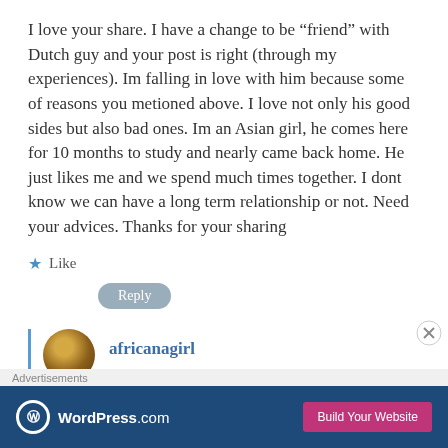I love your share. I have a change to be “friend” with Dutch guy and your post is right (through my experiences). Im falling in love with him because some of reasons you metioned above. I love not only his good sides but also bad ones. Im an Asian girl, he comes here for 10 months to study and nearly came back home. He just likes me and we spend much times together. I dont know we can have a long term relationship or not. Need your advices. Thanks for your sharing
Like
Reply
africanagirl
Advertisements
[Figure (screenshot): WordPress.com advertisement banner with logo and Build Your Website button]